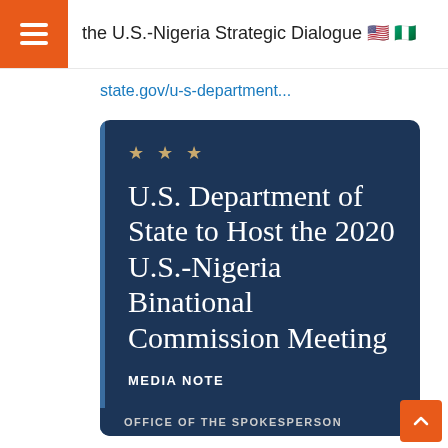the U.S.-Nigeria Strategic Dialogue 🇺🇸 🇳🇬
state.gov/u-s-department...
[Figure (other): U.S. Department of State press release card with dark navy background. Shows three gold stars, title 'U.S. Department of State to Host the 2020 U.S.-Nigeria Binational Commission Meeting', subtitle 'MEDIA NOTE', and partial text 'OFFICE OF THE SPOKESPERSON']